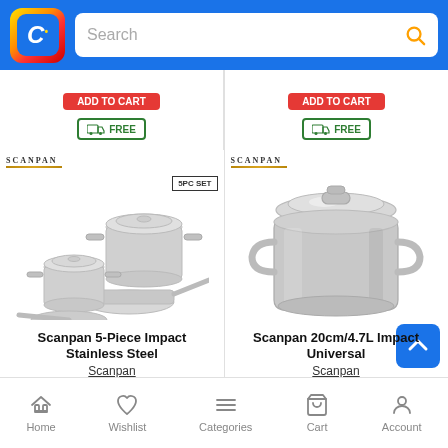Catch.com.au - Search bar header
[Figure (screenshot): Partial product cards from above scroll showing red Add buttons and FREE delivery truck badges]
[Figure (photo): Scanpan 5-Piece Impact Stainless Steel cookware set with multiple pots and pans, '5PC SET' badge]
Scanpan 5-Piece Impact Stainless Steel
Scanpan
[Figure (photo): Scanpan 20cm/4.7L Impact Universal stainless steel pot with glass lid]
Scanpan 20cm/4.7L Impact Universal
Scanpan
Home  Wishlist  Categories  Cart  Account